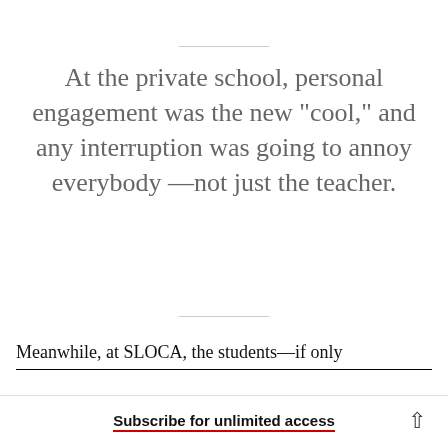At the private school, personal engagement was the new "cool," and any interruption was going to annoy everybody —not just the teacher.
Meanwhile, at SLOCA, the students—if only
Subscribe for unlimited access